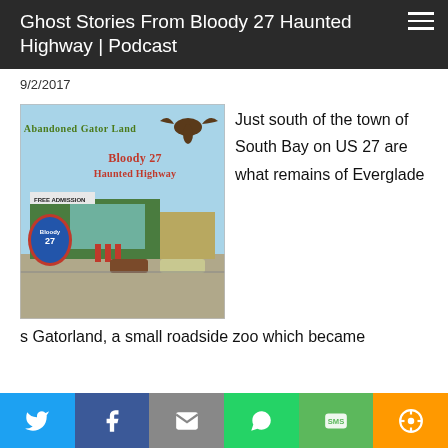Ghost Stories From Bloody 27 Haunted Highway | Podcast
9/2/2017
[Figure (photo): Vintage postcard image of Abandoned Gator Land with Bloody 27 Haunted Highway logo overlay. Shows a roadside attraction building with 'FREE ADMISSION' sign, gas pumps, and a flying bird silhouette. Interstate highway-style Bloody 27 shield logo in red and blue.]
Just south of the town of South Bay on US 27 are what remains of Everglades Gatorland, a small roadside zoo which became